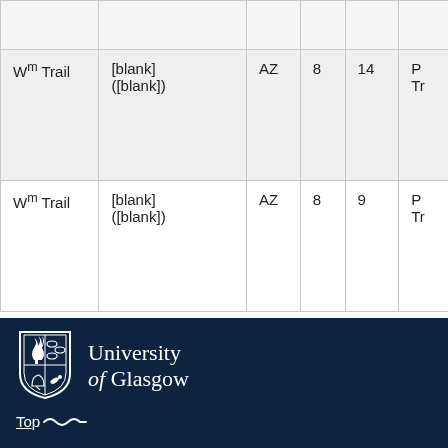|  |  |  |  |  |  |
| Wm Trail | [blank]
([blank]) | AZ | 8 | 14 | P
Tr |
| Wm Trail | [blank]
([blank]) | AZ | 8 | 9 | P
Tr |
University of Glasgow
Top